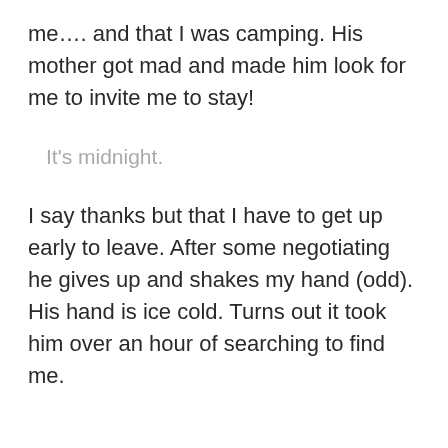me…. and that I was camping. His mother got mad and made him look for me to invite me to stay!
It's midnight.
I say thanks but that I have to get up early to leave. After some negotiating he gives up and shakes my hand (odd). His hand is ice cold. Turns out it took him over an hour of searching to find me.